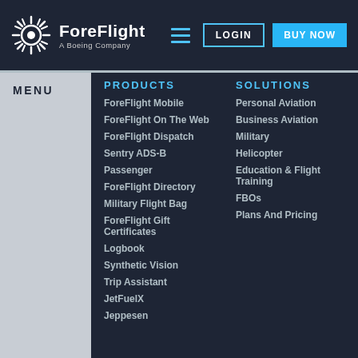ForeFlight — A Boeing Company | LOGIN | BUY NOW
MENU
PRODUCTS
ForeFlight Mobile
ForeFlight On The Web
ForeFlight Dispatch
Sentry ADS-B
Passenger
ForeFlight Directory
Military Flight Bag
ForeFlight Gift Certificates
Logbook
Synthetic Vision
Trip Assistant
JetFuelX
Jeppesen
SOLUTIONS
Personal Aviation
Business Aviation
Military
Helicopter
Education & Flight Training
FBOs
Plans And Pricing